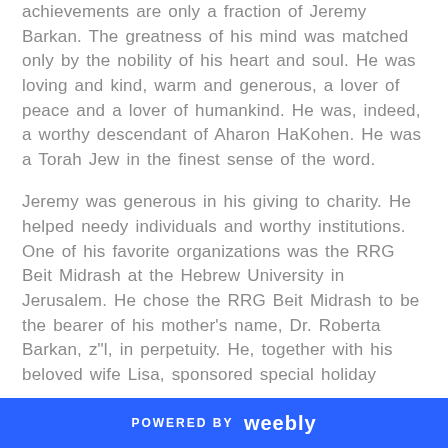achievements are only a fraction of Jeremy Barkan. The greatness of his mind was matched only by the nobility of his heart and soul. He was loving and kind, warm and generous, a lover of peace and a lover of humankind. He was, indeed, a worthy descendant of Aharon HaKohen. He was a Torah Jew in the finest sense of the word.
Jeremy was generous in his giving to charity. He helped needy individuals and worthy institutions. One of his favorite organizations was the RRG Beit Midrash at the Hebrew University in Jerusalem. He chose the RRG Beit Midrash to be the bearer of his mother's name, Dr. Roberta Barkan, z"l, in perpetuity. He, together with his beloved wife Lisa, sponsored special holiday
POWERED BY weebly